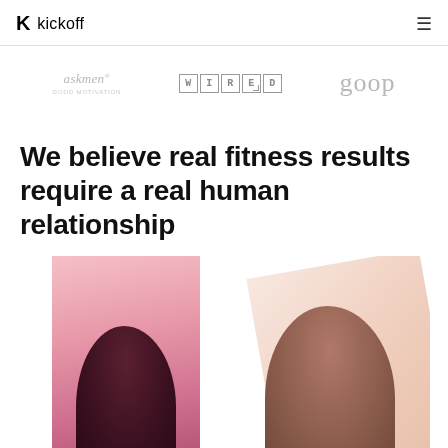kickoff
[Figure (logo): Three press logos: askmen, WIRED, goop]
We believe real fitness results require a real human relationship
[Figure (photo): Two photos: person with pink/magenta hue on left, person with peachy background geometric shape on right, partially cropped at bottom of page]